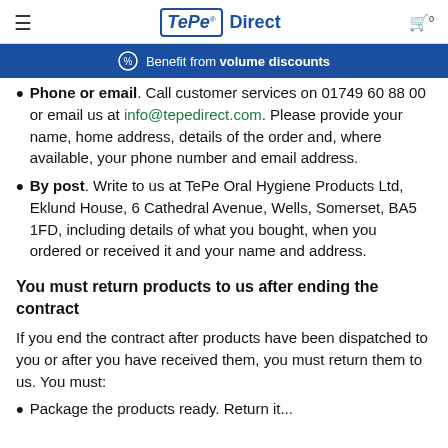TePe® Direct
Phone or email. Call customer services on 01749 60 88 00 or email us at info@tepedirect.com. Please provide your name, home address, details of the order and, where available, your phone number and email address.
By post. Write to us at TePe Oral Hygiene Products Ltd, Eklund House, 6 Cathedral Avenue, Wells, Somerset, BA5 1FD, including details of what you bought, when you ordered or received it and your name and address.
You must return products to us after ending the contract
If you end the contract after products have been dispatched to you or after you have received them, you must return them to us. You must:
Package the products ready. Return it...